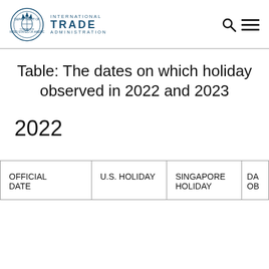International Trade Administration
Table: The dates on which holidays are observed in 2022 and 2023
2022
| OFFICIAL DATE | U.S. HOLIDAY | SINGAPORE HOLIDAY | DA OB |
| --- | --- | --- | --- |